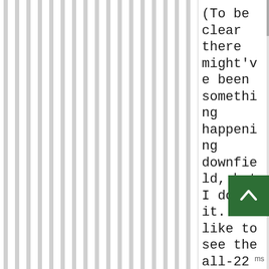[Figure (other): Vertical striped pattern on the left portion of the page, resembling a decorative or background column layout with alternating white and light-gray vertical stripes.]
(To be clear there might've been something happening downfield, but I doubt it. I'd like to see the all-22 but McCarthy and Fassel's body language just indicates
[Figure (other): Green scroll-to-top button with an upward-pointing chevron arrow icon.]